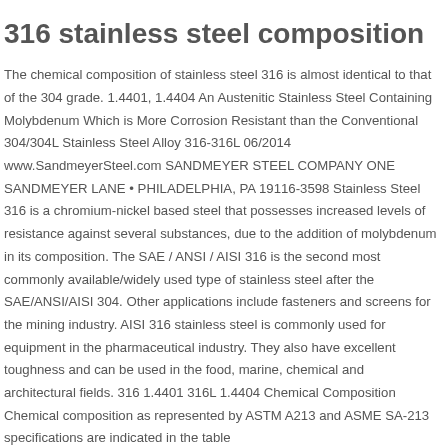316 stainless steel composition
The chemical composition of stainless steel 316 is almost identical to that of the 304 grade. 1.4401, 1.4404 An Austenitic Stainless Steel Containing Molybdenum Which is More Corrosion Resistant than the Conventional 304/304L Stainless Steel Alloy 316-316L 06/2014 www.SandmeyerSteel.com SANDMEYER STEEL COMPANY ONE SANDMEYER LANE • PHILADELPHIA, PA 19116-3598 Stainless Steel 316 is a chromium-nickel based steel that possesses increased levels of resistance against several substances, due to the addition of molybdenum in its composition. The SAE / ANSI / AISI 316 is the second most commonly available/widely used type of stainless steel after the SAE/ANSI/AISI 304. Other applications include fasteners and screens for the mining industry. AISI 316 stainless steel is commonly used for equipment in the pharmaceutical industry. They also have excellent toughness and can be used in the food, marine, chemical and architectural fields. 316 1.4401 316L 1.4404 Chemical Composition Chemical composition as represented by ASTM A213 and ASME SA-213 specifications are indicated in the table